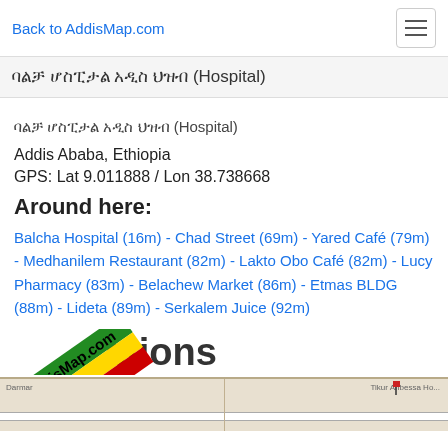Back to AddisMap.com
ባልቻ ሆስፒታል አዲስ ህዝብ (Hospital)
ባልቻ ሆስፒታል አዲስ ህዝብ (Hospital)
Addis Ababa, Ethiopia
GPS: Lat 9.011888 / Lon 38.738668
Around here:
Balcha Hospital (16m) - Chad Street (69m) - Yared Café (79m) - Medhanilem Restaurant (82m) - Lakto Obo Café (82m) - Lucy Pharmacy (83m) - Belachew Market (86m) - Etmas BLDG (88m) - Lideta (89m) - Serkalem Juice (92m)
Directions
[Figure (map): Street map of the area around the hospital location in Addis Ababa with watermark overlay showing AddisMap.com logo]